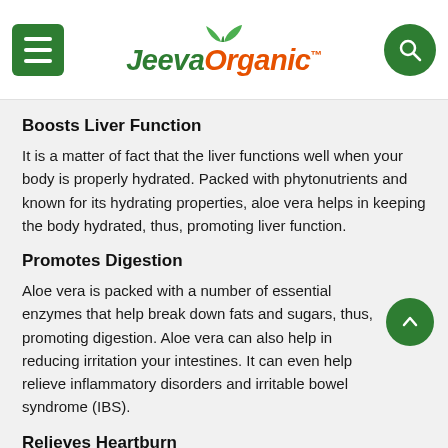JeevaOrganic™
Boosts Liver Function
It is a matter of fact that the liver functions well when your body is properly hydrated. Packed with phytonutrients and known for its hydrating properties, aloe vera helps in keeping the body hydrated, thus, promoting liver function.
Promotes Digestion
Aloe vera is packed with a number of essential enzymes that help break down fats and sugars, thus, promoting digestion. Aloe vera can also help in reducing irritation your intestines. It can even help relieve inflammatory disorders and irritable bowel syndrome (IBS).
Relieves Heartburn
Consumption of aloe vera juice can offer relief from heartburns. The compounds in aloe vera juice control the